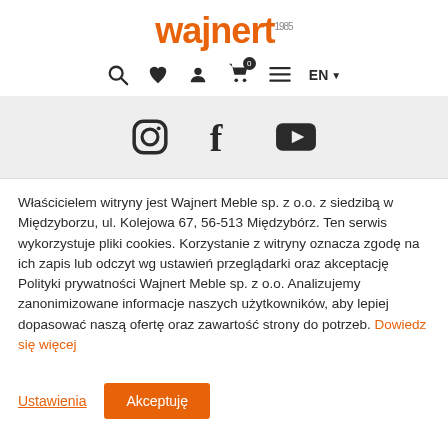[Figure (logo): Wajnert 1985 logo in orange with superscript year]
[Figure (infographic): Navigation icons: search, heart/wishlist, person/account, shopping cart with 0 badge, hamburger menu, EN language selector with dropdown arrow]
[Figure (infographic): Social media icons: Instagram, Facebook, YouTube on grey background]
Właścicielem witryny jest Wajnert Meble sp. z o.o. z siedzibą w Międzyborzu, ul. Kolejowa 67, 56-513 Międzybórz. Ten serwis wykorzystuje pliki cookies. Korzystanie z witryny oznacza zgodę na ich zapis lub odczyt wg ustawień przeglądarki oraz akceptację Polityki prywatności Wajnert Meble sp. z o.o. Analizujemy zanonimizowane informacje naszych użytkowników, aby lepiej dopasować naszą ofertę oraz zawartość strony do potrzeb. Dowiedz się więcej
Ustawienia | Akceptuję